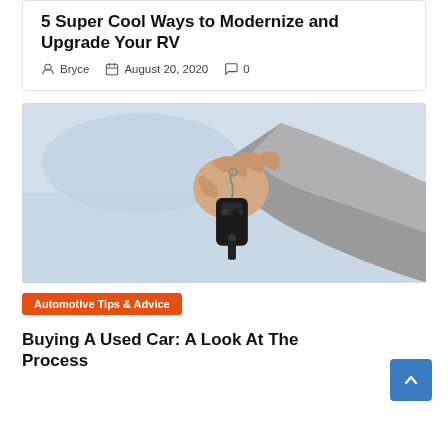5 Super Cool Ways to Modernize and Upgrade Your RV
Bryce  August 20, 2020  0
[Figure (photo): A hand holding car keys with a key fob, blurred background]
Automotive Tips & Advice
Buying A Used Car: A Look At The Process